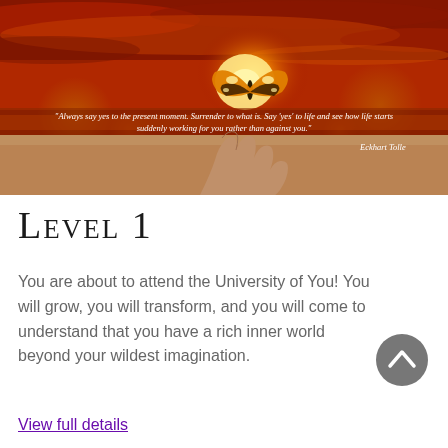[Figure (photo): A hand with a monarch butterfly perched on a fingertip against a dramatic red/orange sunset sky over a sandy beach. Quote overlay reads: "Always say yes to the present moment. Surrender to what is. Say 'yes' to life and see how life starts suddenly working for you rather than against you." Attribution: Eckhart Tolle]
Level 1
You are about to attend the University of You! You will grow, you will transform, and you will come to understand that you have a rich inner world beyond your wildest imagination.
View full details